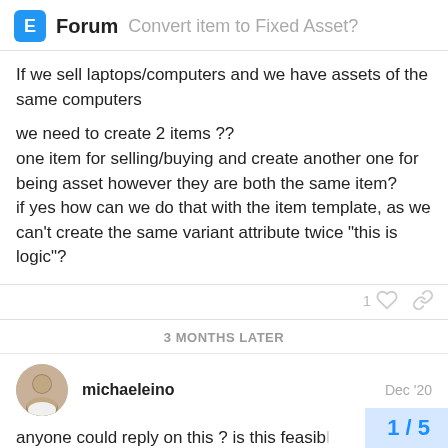E Forum  Convert item to Fixed Asset?
If we sell laptops/computers and we have assets of the same computers

we need to create 2 items ??
one item for selling/buying and create another one for being asset however they are both the same item?
if yes how can we do that with the item template, as we can't create the same variant attribute twice “this is logic”?
3 MONTHS LATER
michaeleino   Dec '20
anyone could reply on this ? is this feasib...
1 / 5